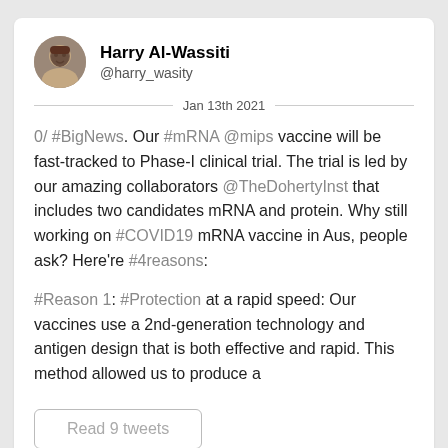Harry Al-Wassiti @harry_wasity
Jan 13th 2021
0/ #BigNews. Our #mRNA @mips vaccine will be fast-tracked to Phase-I clinical trial. The trial is led by our amazing collaborators @TheDohertyInst that includes two candidates mRNA and protein. Why still working on #COVID19 mRNA vaccine in Aus, people ask? Here're #4reasons:
#Reason 1: #Protection at a rapid speed: Our vaccines use a 2nd-generation technology and antigen design that is both effective and rapid. This method allowed us to produce a
Read 9 tweets